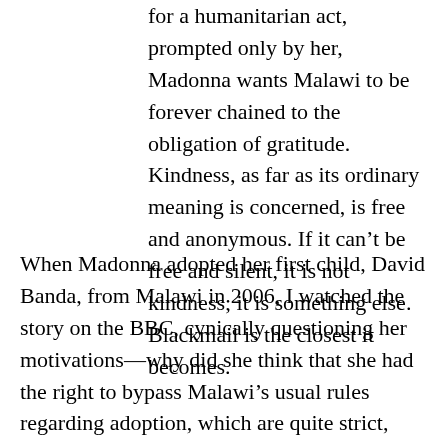for a humanitarian act, prompted only by her, Madonna wants Malawi to be forever chained to the obligation of gratitude. Kindness, as far as its ordinary meaning is concerned, is free and anonymous. If it can't be free and silent, it is not kindness; it is something else. Blackmail is the closest it becomes.
When Madonna adopted her first child, David Banda, from Malawi in 2006, I watched the story on the BBC, cynically questioning her motivations—why did she think that she had the right to bypass Malawi's usual rules regarding adoption, which are quite strict, requiring adoptive parents to live in the country for a period of 18 months or more? Celebrity—and ...